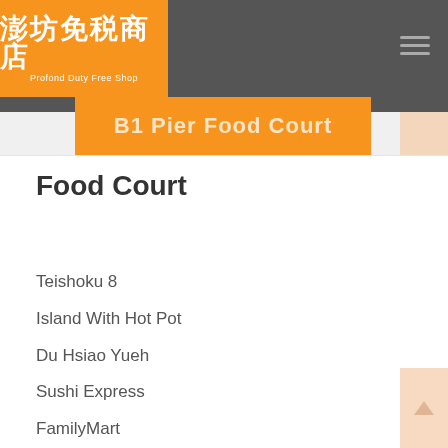澎坊免税商店 Profond Duty Free Shop
B1 Pier Food Court
Food Court
Teishoku 8
Island With Hot Pot
Du Hsiao Yueh
Sushi Express
FamilyMart